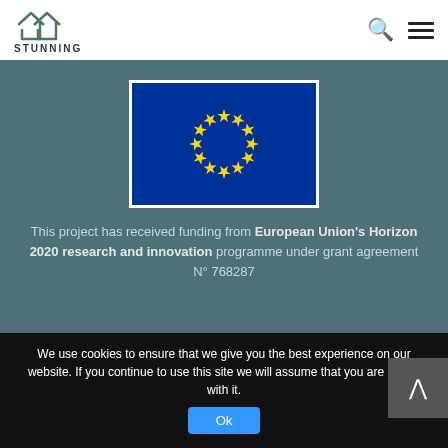STUNNING
[Figure (logo): EU flag — blue background with 12 yellow stars arranged in a circle]
This project has received funding from European Union's Horizon 2020 research and innovation programme under grant agreement N° 768287
[Figure (logo): STUNNING project logo watermark in grey]
We use cookies to ensure that we give you the best experience on our website. If you continue to use this site we will assume that you are happy with it.